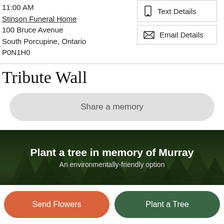11:00 AM
Stinson Funeral Home
100 Bruce Avenue
South Porcupine, Ontario
P0N1H0
[Figure (screenshot): Text Details button with phone icon]
[Figure (screenshot): Email Details button with envelope icon]
Tribute Wall
Share a memory
[Figure (photo): Dark forest/tree background banner with text: Plant a tree in memory of Murray. An environmentally-friendly option.]
Send Flowers
Plant a Tree